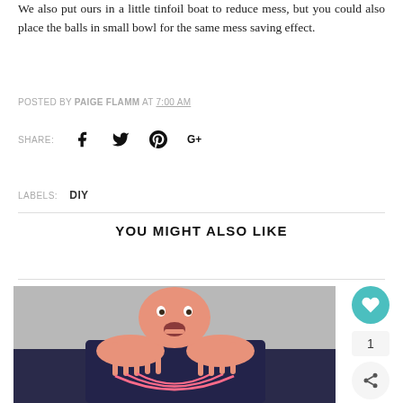We also put ours in a little tinfoil boat to reduce mess, but you could also place the balls in small bowl for the same mess saving effect.
POSTED BY PAIGE FLAMM AT 7:00 AM
SHARE:
LABELS: DIY
YOU MIGHT ALSO LIKE
[Figure (photo): Child playing with pink slime, hands stretched apart with slime strings between fingers, mouth open in excitement]